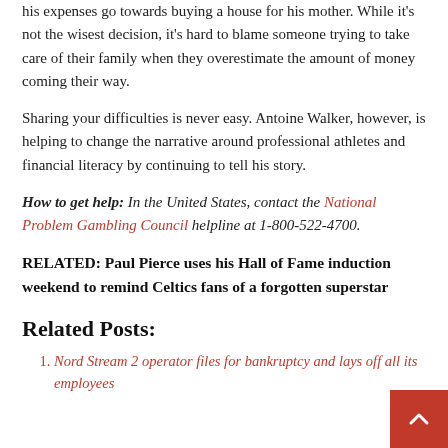his expenses go towards buying a house for his mother. While it's not the wisest decision, it's hard to blame someone trying to take care of their family when they overestimate the amount of money coming their way.
Sharing your difficulties is never easy. Antoine Walker, however, is helping to change the narrative around professional athletes and financial literacy by continuing to tell his story.
How to get help: In the United States, contact the National Problem Gambling Council helpline at 1-800-522-4700.
RELATED: Paul Pierce uses his Hall of Fame induction weekend to remind Celtics fans of a forgotten superstar
Related Posts:
Nord Stream 2 operator files for bankruptcy and lays off all its employees